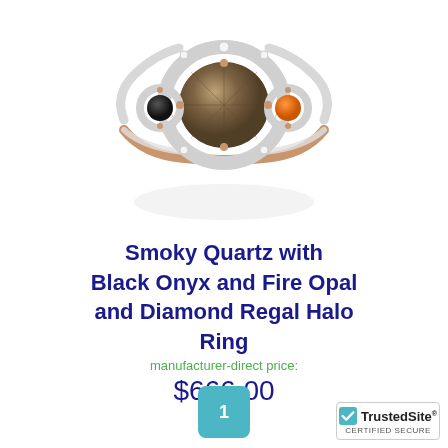[Figure (photo): A three-stone halo ring featuring a central smoky quartz surrounded by a diamond halo, with a black onyx on the left side and a fire opal on the right side, set on a rose gold band. The ring is shown on a white reflective surface.]
Smoky Quartz with Black Onyx and Fire Opal and Diamond Regal Halo Ring
manufacturer-direct price:
$666.00
1
[Figure (logo): TrustedSite CERTIFIED SECURE badge with a teal checkmark icon]